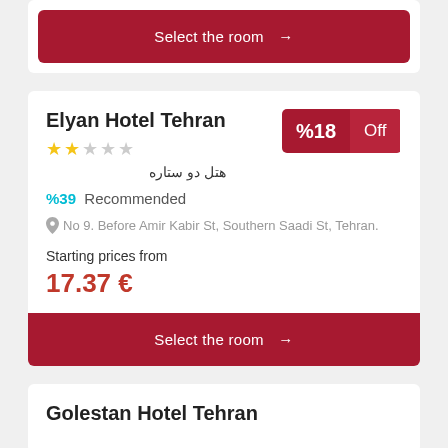Select the room →
Elyan Hotel Tehran
★★☆☆☆
هتل دو ستاره
%18 Off
%39 Recommended
No 9. Before Amir Kabir St, Southern Saadi St, Tehran.
Starting prices from
17.37 €
Select the room →
Golestan Hotel Tehran